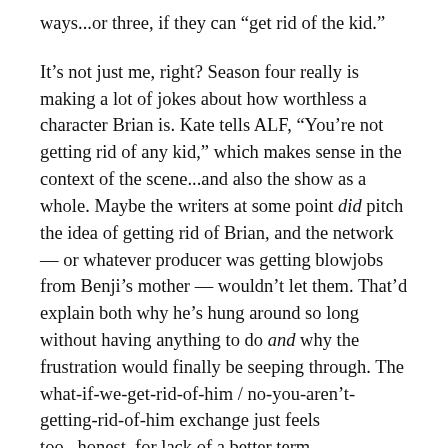ways...or three, if they can “get rid of the kid.”
It’s not just me, right? Season four really is making a lot of jokes about how worthless a character Brian is. Kate tells ALF, “You’re not getting rid of any kid,” which makes sense in the context of the scene...and also the show as a whole. Maybe the writers at some point did pitch the idea of getting rid of Brian, and the network — or whatever producer was getting blowjobs from Benji’s mother — wouldn’t let them. That’d explain both why he’s hung around so long without having anything to do and why the frustration would finally be seeping through. The what-if-we-get-rid-of-him / no-you-aren’t-getting-rid-of-him exchange just feels too...honest, for lack of a better term.
So, whatever, nobody’s killing Brian, but we do have a ———————